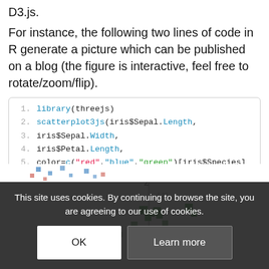D3.js.
For instance, the following two lines of code in R generate a picture which can be published on a blog (the figure is interactive, feel free to rotate/zoom/flip).
1. library(threejs)
2. scatterplot3js(iris$Sepal.Length,
3. iris$Sepal.Width,
4. iris$Petal.Length,
5. color=c("red","blue","green")[iris$Species]
[Figure (screenshot): 3D scatter plot of the iris dataset displayed in the browser, showing colored square data points (green, blue, red) arranged in 3D space with a Z axis label and value 6.90 marked.]
This site uses cookies. By continuing to browse the site, you are agreeing to our use of cookies.